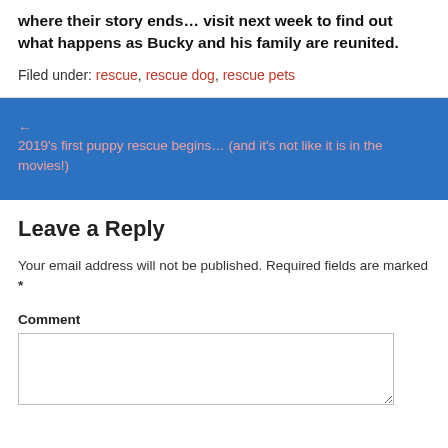where their story ends… visit next week to find out what happens as Bucky and his family are reunited.
Filed under: rescue, rescue dog, rescue pets
← 2019's first puppy rescue begins… (and it's not like it is in the movies!)
Leave a Reply
Your email address will not be published. Required fields are marked *
Comment